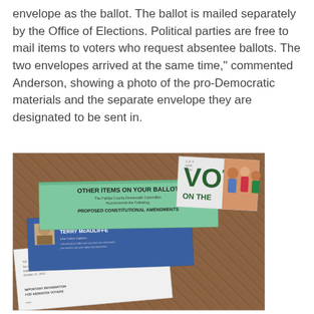envelope as the ballot. The ballot is mailed separately by the Office of Elections. Political parties are free to mail items to voters who request absentee ballots. The two envelopes arrived at the same time," commented Anderson, showing a photo of the pro-Democratic materials and the separate envelope they are designated to be sent in.
[Figure (photo): Photo of political mailers and envelopes on a wooden table surface, including a green mailer titled 'OTHER ITEMS ON YOUR BALLOT', a blue envelope with 'A MESSAGE FROM TERRY McAULIFFE', a 'VOTE' card, and a white envelope labeled 'IMPORTANT INFORMATION FOR ABSENTEE VOTERS'.]